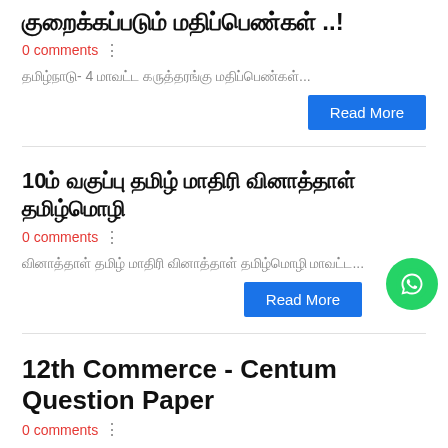குறைக்கப்படும் மதிப்பெண்கள் ..!
0 comments
தமிழ்நாடு- 4 மாவட்ட கருத்தரங்கு மதிப்பெண்கள்...
Read More
10ம் வகுப்பு தமிழ் மாதிரி வினாத்தாள் தமிழ்மொழி
0 comments
வினாத்தாள் தமிழ் மாதிரி வினாத்தாள் தமிழ்மொழி மாவட்ட...
Read More
12th Commerce - Centum Question Paper
0 comments
12th English Medium Centum Question Papers: 12th Commerce - Centum Question Paper | Mr. M. Subramaniyan - English Med...